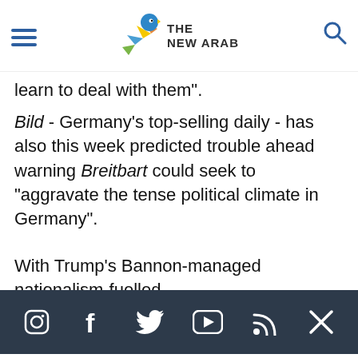The New Arab
learn to deal with them".
Bild - Germany's top-selling daily - has also this week predicted trouble ahead warning Breitbart could seek to "aggravate the tense political climate in Germany".
With Trump's Bannon-managed nationalism-fuelled
[Figure (infographic): Social media icon bar with Instagram, Facebook, Twitter, YouTube, RSS, and X icons on dark navy background]
more shock politics upsets this year.
Breitbart has declined to comment on the story.
Privacy Policy | Terms of Use | Sitemap
Most Viewed ^